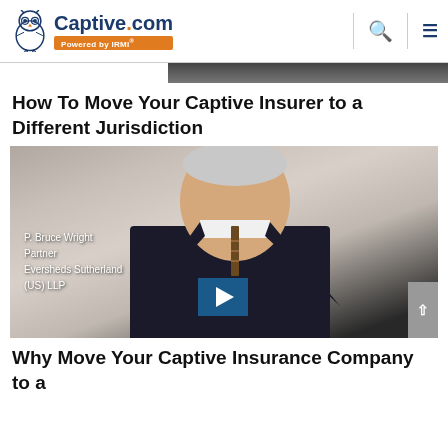Captive.com — Powered by IRMI
[Figure (photo): Cropped photo of a man in suit and tie at top of page]
How To Move Your Captive Insurer to a Different Jurisdiction
[Figure (photo): Video thumbnail showing P. Bruce Wright, Partner, Eversheds Sutherland (US) LLP, with a blue play button overlay]
Why Move Your Captive Insurance Company to a